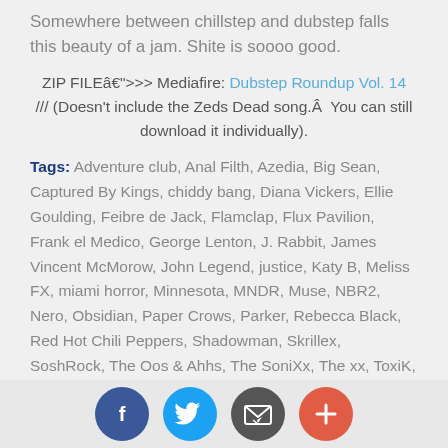Somewhere between chillstep and dubstep falls this beauty of a jam. Shite is soooo good.
ZIP FILEâ€">>>> Mediafire: Dubstep Roundup Vol. 14 /// (Doesn't include the Zeds Dead song.Â You can still download it individually).
Tags: Adventure club, Anal Filth, Azedia, Big Sean, Captured By Kings, chiddy bang, Diana Vickers, Ellie Goulding, Feibre de Jack, Flamclap, Flux Pavilion, Frank el Medico, George Lenton, J. Rabbit, James Vincent McMorow, John Legend, justice, Katy B, Meliss FX, miami horror, Minnesota, MNDR, Muse, NBR2, Nero, Obsidian, Paper Crows, Parker, Rebecca Black, Red Hot Chili Peppers, Shadowman, Skrillex, SoshRock, The Oos & Ahhs, The SoniXx, The xx, ToxiK, Zeds Dea
[Figure (other): Social media share buttons: Facebook, Twitter, Email, Plus]